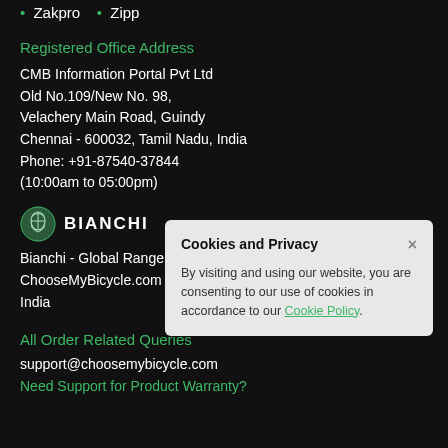Zakpro  Zipp
Registered Office Address
CMB Information Portal Pvt Ltd
Old No.109/New No. 98,
Velachery Main Road, Guindy
Chennai - 600032, Tamil Nadu, India
Phone: +91-87540-37844
(10:00am to 05:00pm)
[Figure (logo): Bianchi logo - eagle emblem with BIANCHI text]
Bianchi - Global Range
ChooseMyBicycle.com is the Exclusive Distributor for Bianchi in India
[Figure (screenshot): Cookies and Privacy popup dialog saying: By visiting and using our website, you are consenting to our use of cookies in accordance to our Cookie Policy.]
All Order Related Queries
support@choosemybicycle.com
Need Support for Product Warranty?